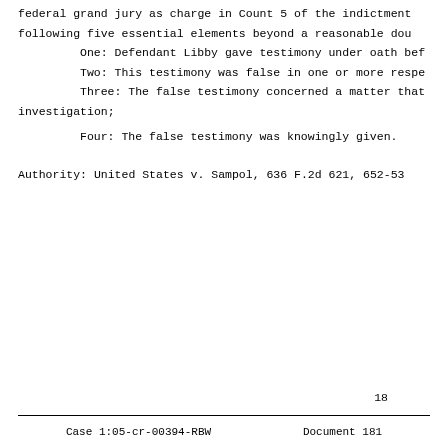federal grand jury as charge in Count 5 of the indictment following five essential elements beyond a reasonable dou
One: Defendant Libby gave testimony under oath bef
Two: This testimony was false in one or more respe
Three: The false testimony concerned a matter that investigation;
Four: The false testimony was knowingly given.
Authority: United States v. Sampol, 636 F.2d 621, 652-53
18
Case 1:05-cr-00394-RBW    Document 181